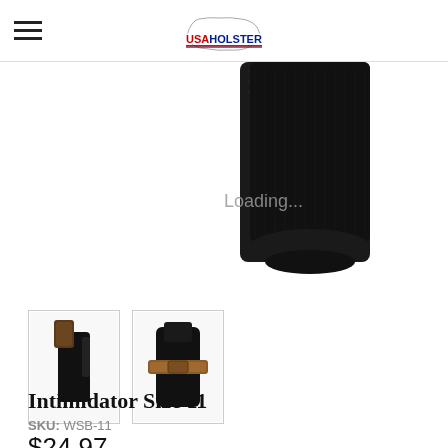USA Holster logo and navigation
[Figure (photo): Close-up photo of a black leather/nylon gun holster, showing textured surface detail, partially cropped. Overlaid with gray 'Loading...' text.]
[Figure (photo): Thumbnail image 1: black nylon holster with revolver grip visible, side view.]
[Figure (photo): Thumbnail image 2: black nylon holster with brown leather belt loop, front view.]
Intimidator Size 11
SKU: WSB-11
$24.97